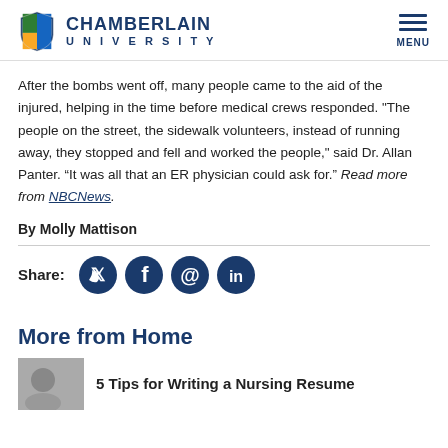Chamberlain University
After the bombs went off, many people came to the aid of the injured, helping in the time before medical crews responded. "The people on the street, the sidewalk volunteers, instead of running away, they stopped and fell and worked the people," said Dr. Allan Panter. “It was all that an ER physician could ask for.” Read more from NBCNews.
By Molly Mattison
Share:
More from Home
5 Tips for Writing a Nursing Resume